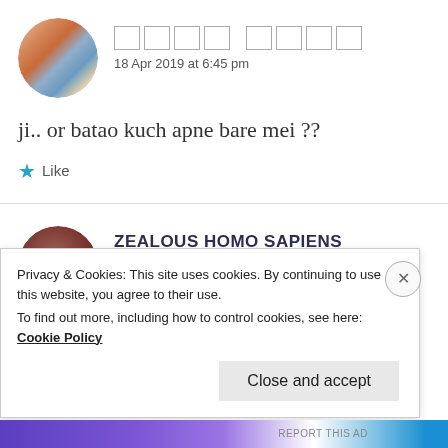[Figure (photo): Circular avatar of a woman in colorful traditional Indian attire with floral decoration]
[redacted username]
18 Apr 2019 at 6:45 pm
ji.. or batao kuch apne bare mei ??
Like
[Figure (photo): Circular avatar showing a dark-toned portrait of a person]
ZEALOUS HOMO SAPIENS
18 Apr 2019 at 6:50 pm
Privacy & Cookies: This site uses cookies. By continuing to use this website, you agree to their use.
To find out more, including how to control cookies, see here: Cookie Policy
Close and accept